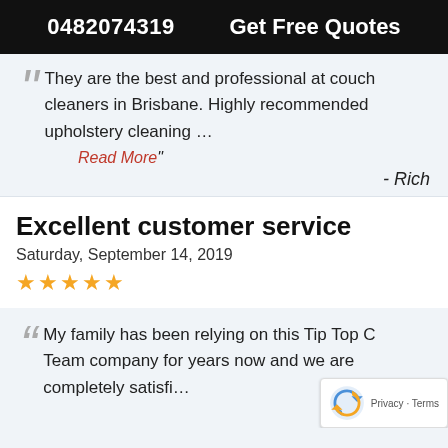0482074319   Get Free Quotes
They are the best and professional at couch cleaners in Brisbane. Highly recommended upholstery cleaning ... Read More"
- Rich
Excellent customer service
Saturday, September 14, 2019
★★★★★
My family has been relying on this Tip Top C... Team company for years now and we are completely satisfi...